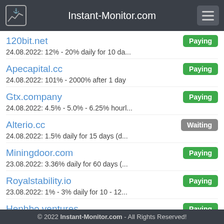Instant-Monitor.com
120bit.net | Paying
24.08.2022: 12% - 20% daily for 10 da...
Apecapital.cc | Paying
24.08.2022: 101% - 2000% after 1 day
Gtx.company | Paying
24.08.2022: 4.5% - 5.0% - 6.25% hourl...
Alterio.cc | Waiting
24.08.2022: 1.5% daily for 15 days (d...
Miningdoor.com | Paying
23.08.2022: 3.36% daily for 60 days (...
Royalstability.io | Paying
23.08.2022: 1% - 3% daily for 10 - 12...
Henbbo.ventures | Paying
23.08.2022:1.65% - 3.7% daily for 1...
Cryptolite.pro | Paying
23.08.2022: 5% - 7% - 8% daily for 5...
© 2022 Instant-Monitor.com - All Rights Reserved!